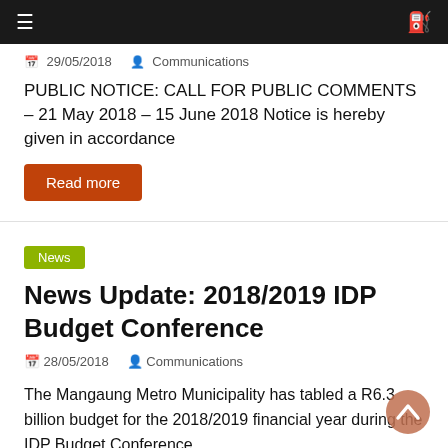Navigation bar with menu and search icons
29/05/2018  Communications
PUBLIC NOTICE: CALL FOR PUBLIC COMMENTS – 21 May 2018 – 15 June 2018 Notice is hereby given in accordance
Read more
News
News Update: 2018/2019 IDP Budget Conference
28/05/2018  Communications
The Mangaung Metro Municipality has tabled a R6.3 billion budget for the 2018/2019 financial year during the IDP Budget Conference